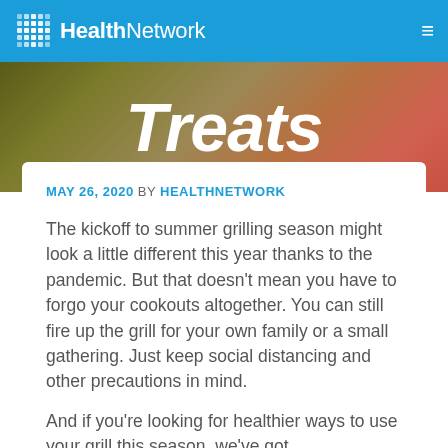HealthNetwork
Treats
MAY 26, 2020  BY  HEALTHNETWORK
The kickoff to summer grilling season might look a little different this year thanks to the pandemic. But that doesn't mean you have to forgo your cookouts altogether. You can still fire up the grill for your own family or a small gathering. Just keep social distancing and other precautions in mind.
And if you're looking for healthier ways to use your grill this season, we've got